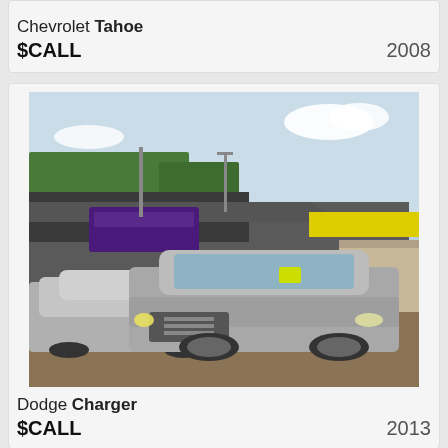Chevrolet Tahoe
$CALL   2008
[Figure (photo): Dodge Charger silver sedan parked at a used car dealership lot, with another silver SUV visible behind it. Dealership building with purple and yellow signage in background.]
Dodge Charger
$CALL   2013
[Figure (photo): Partial view of a car dealership building with blue/purple signage, blue sky with clouds, trees visible.]